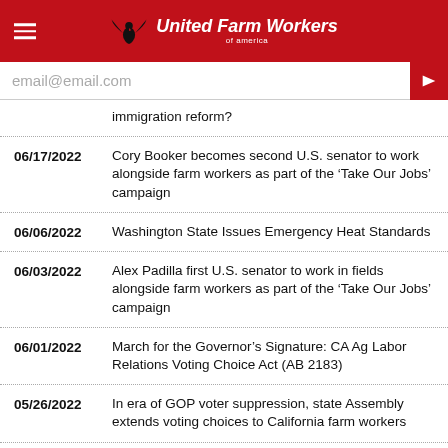United Farm Workers
email@email.com
immigration reform?
06/17/2022 — Cory Booker becomes second U.S. senator to work alongside farm workers as part of the ‘Take Our Jobs’ campaign
06/06/2022 — Washington State Issues Emergency Heat Standards
06/03/2022 — Alex Padilla first U.S. senator to work in fields alongside farm workers as part of the ‘Take Our Jobs’ campaign
06/01/2022 — March for the Governor’s Signature: CA Ag Labor Relations Voting Choice Act (AB 2183)
05/26/2022 — In era of GOP voter suppression, state Assembly extends voting choices to California farm workers